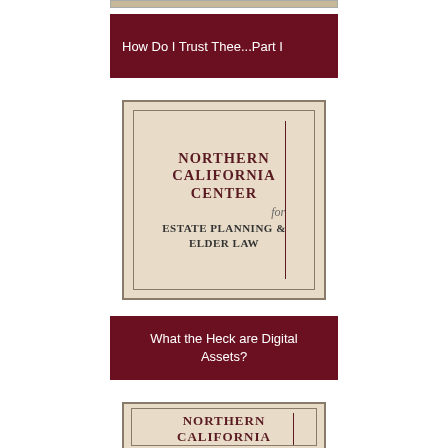[Figure (logo): Partial top strip of a logo image at very top of page]
How Do I Trust Thee...Part I
[Figure (logo): Northern California Center for Estate Planning & Elder Law logo — beige/stone background with dark red serif text and vertical rule divider]
What the Heck are Digital Assets?
[Figure (logo): Partial Northern California Center logo — same as above, cropped at bottom of page showing NORTHERN and partial CALIFORNIA text]